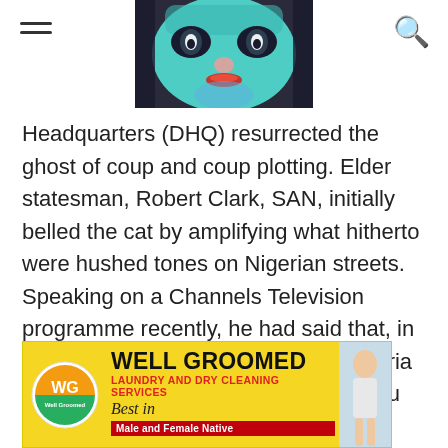[Navigation menu icon] [Header image - masked face] [Search icon]
[Figure (photo): Colorful theatrical mask with teal/blue face paint, dramatic eye makeup, and red lips, used as a header image for the article]
Headquarters (DHQ) resurrected the ghost of coup and coup plotting. Elder statesman, Robert Clark, SAN, initially belled the cat by amplifying what hitherto were hushed tones on Nigerian streets. Speaking on a Channels Television programme recently, he had said that, in view of the near total collapse of Nigeria in the hands of President Muhammadu Buhari, he should hand over the administration of Nigeria to the military.
[Figure (logo): Well Groomed advertisement banner. Yellow background with WG orange/green circular logo on left. Text reads: WELL GROOMED, LAUNDRY AND DRY CLEANING SERVICES, Best in, Male and Female Native (in red bar). Woman image on right side.]